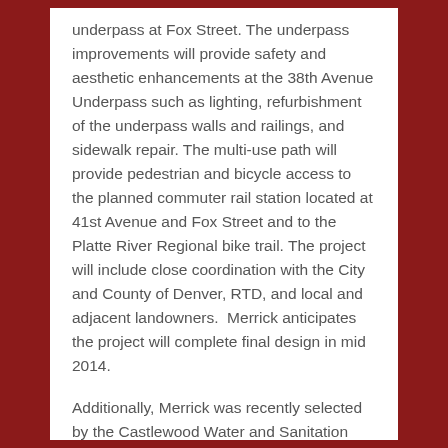underpass at Fox Street. The underpass improvements will provide safety and aesthetic enhancements at the 38th Avenue Underpass such as lighting, refurbishment of the underpass walls and railings, and sidewalk repair. The multi-use path will provide pedestrian and bicycle access to the planned commuter rail station located at 41st Avenue and Fox Street and to the Platte River Regional bike trail. The project will include close coordination with the City and County of Denver, RTD, and local and adjacent landowners.  Merrick anticipates the project will complete final design in mid 2014.
Additionally, Merrick was recently selected by the Castlewood Water and Sanitation District to provide district engineering/program management services for the district. Other current and ongoing civil infrastructure projects for Merrick includes significant work along the Front Range.